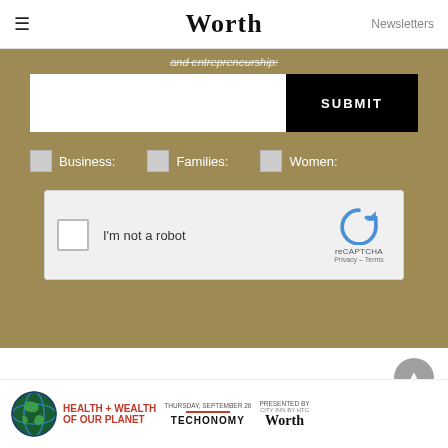Worth | Newsletters
and entrepreneurship:
[Figure (screenshot): Newsletter signup form with email input field, SUBMIT button, checkboxes for Business, Families, Women, and a reCAPTCHA widget]
[Figure (infographic): Health + Wealth of Our Planet banner ad with globe icon, Techonomy branding, presented by Worth, Thursday September event]